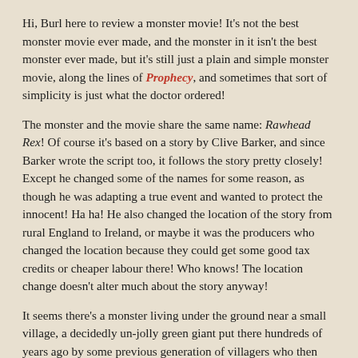Hi, Burl here to review a monster movie! It's not the best monster movie ever made, and the monster in it isn't the best monster ever made, but it's still just a plain and simple monster movie, along the lines of Prophecy, and sometimes that sort of simplicity is just what the doctor ordered!
The monster and the movie share the same name: Rawhead Rex! Of course it's based on a story by Clive Barker, and since Barker wrote the script too, it follows the story pretty closely! Except he changed some of the names for some reason, as though he was adapting a true event and wanted to protect the innocent! Ha ha! He also changed the location of the story from rural England to Ireland, or maybe it was the producers who changed the location because they could get some good tax credits or cheaper labour there! Who knows! The location change doesn't alter much about the story anyway!
It seems there's a monster living under the ground near a small village, a decidedly un-jolly green giant put there hundreds of years ago by some previous generation of villagers who then erected a big stone penis on top of him! But they forgot to leave any sort of warning about the huge, savage monster man buried